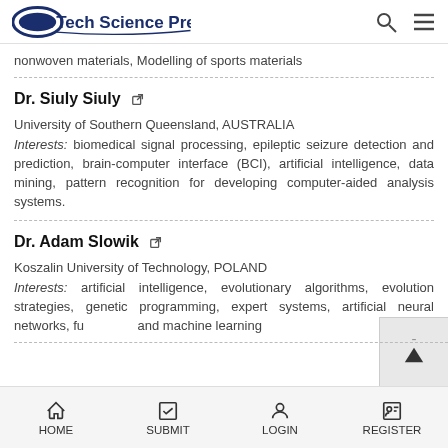Tech Science Press
nonwoven materials, Modelling of sports materials
Dr. Siuly Siuly
University of Southern Queensland, AUSTRALIA
Interests: biomedical signal processing, epileptic seizure detection and prediction, brain-computer interface (BCI), artificial intelligence, data mining, pattern recognition for developing computer-aided analysis systems.
Dr. Adam Slowik
Koszalin University of Technology, POLAND
Interests: artificial intelligence, evolutionary algorithms, evolution strategies, genetic programming, expert systems, artificial neural networks, fuzzy logic and machine learning
HOME  SUBMIT  LOGIN  REGISTER